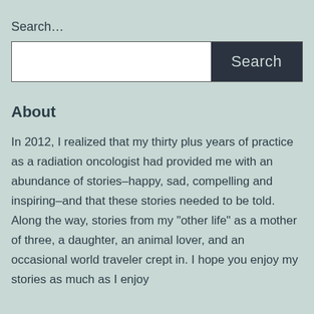Search…
[Figure (other): Search input box with white text field on the left and dark navy Search button on the right]
About
In 2012, I realized that my thirty plus years of practice as a radiation oncologist had provided me with an abundance of stories–happy, sad, compelling and inspiring–and that these stories needed to be told. Along the way, stories from my “other life” as a mother of three, a daughter, an animal lover, and an occasional world traveler crept in. I hope you enjoy my stories as much as I enjoy